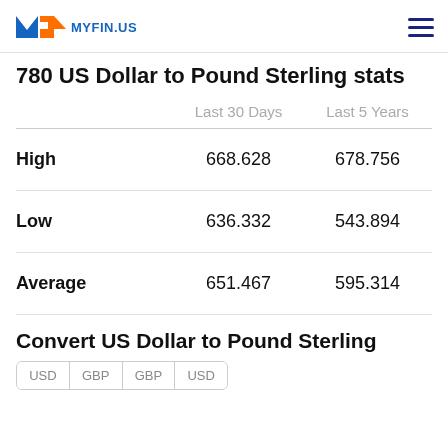MYFIN.US
780 US Dollar to Pound Sterling stats
|  | Last 30 Days | Last 5 Years |
| --- | --- | --- |
| High | 668.628 | 678.756 |
| Low | 636.332 | 543.894 |
| Average | 651.467 | 595.314 |
Convert US Dollar to Pound Sterling